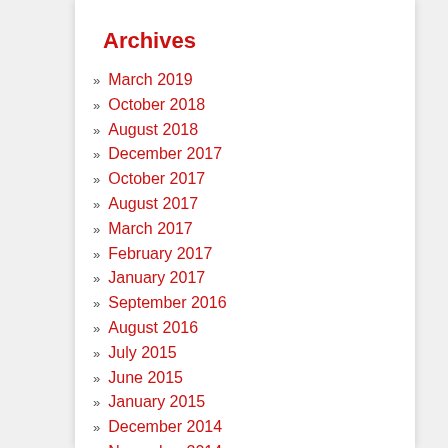Archives
March 2019
October 2018
August 2018
December 2017
October 2017
August 2017
March 2017
February 2017
January 2017
September 2016
August 2016
July 2015
June 2015
January 2015
December 2014
November 2014